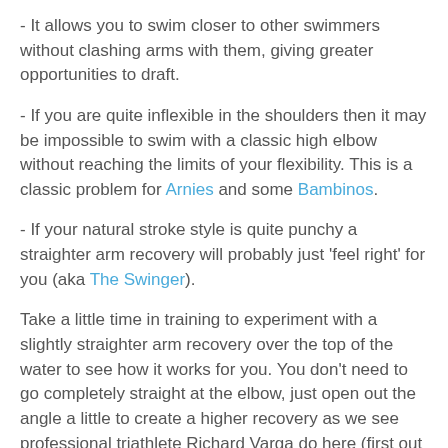- It allows you to swim closer to other swimmers without clashing arms with them, giving greater opportunities to draft.
- If you are quite inflexible in the shoulders then it may be impossible to swim with a classic high elbow without reaching the limits of your flexibility. This is a classic problem for Arnies and some Bambinos.
- If your natural stroke style is quite punchy a straighter arm recovery will probably just 'feel right' for you (aka The Swinger).
Take a little time in training to experiment with a slightly straighter arm recovery over the top of the water to see how it works for you. You don't need to go completely straight at the elbow, just open out the angle a little to create a higher recovery as we see professional triathlete Richard Varga do here (first out of the water at the Olympic Games):
[Figure (photo): A partial image strip showing what appears to be a swimmer in water, described as professional triathlete Richard Varga at the Olympic Games.]